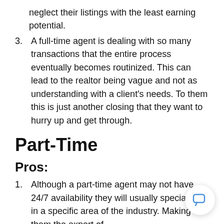neglect their listings with the least earning potential.
A full-time agent is dealing with so many transactions that the entire process eventually becomes routinized. This can lead to the realtor being vague and not as understanding with a client's needs. To them this is just another closing that they want to hurry up and get through.
Part-Time
Pros:
Although a part-time agent may not have 24/7 availability they will usually specialize in a specific area of the industry. Making them the expert of